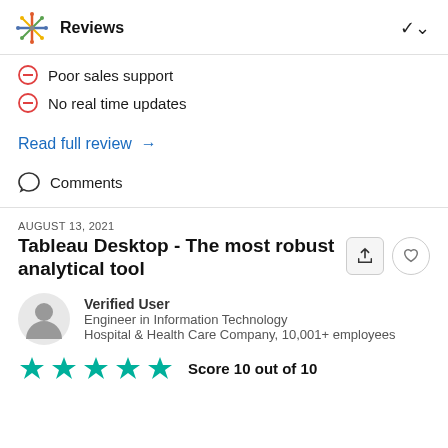Reviews
Poor sales support
No real time updates
Read full review →
Comments
AUGUST 13, 2021
Tableau Desktop - The most robust analytical tool
Verified User
Engineer in Information Technology
Hospital & Health Care Company, 10,001+ employees
Score 10 out of 10